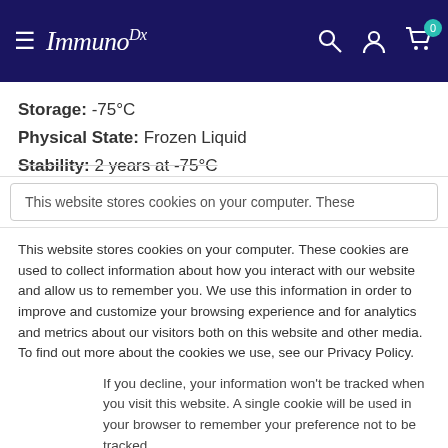ImmunoDx navigation bar with logo, search, account, and cart icons
Storage: -75°C
Physical State: Frozen Liquid
Stability: 2 years at -75°C
This website stores cookies on your computer. These
This website stores cookies on your computer. These cookies are used to collect information about how you interact with our website and allow us to remember you. We use this information in order to improve and customize your browsing experience and for analytics and metrics about our visitors both on this website and other media. To find out more about the cookies we use, see our Privacy Policy.
If you decline, your information won't be tracked when you visit this website. A single cookie will be used in your browser to remember your preference not to be tracked.
Accept
Decline